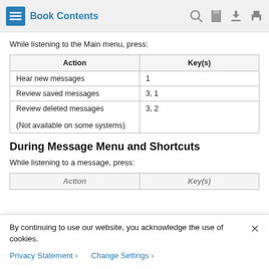Book Contents
While listening to the Main menu, press:
| Action | Key(s) |
| --- | --- |
| Hear new messages | 1 |
| Review saved messages | 3, 1 |
| Review deleted messages
(Not available on some systems) | 3, 2 |
During Message Menu and Shortcuts
While listening to a message, press:
| Action | Key(s) |
| --- | --- |
By continuing to use our website, you acknowledge the use of cookies.
Privacy Statement > Change Settings >